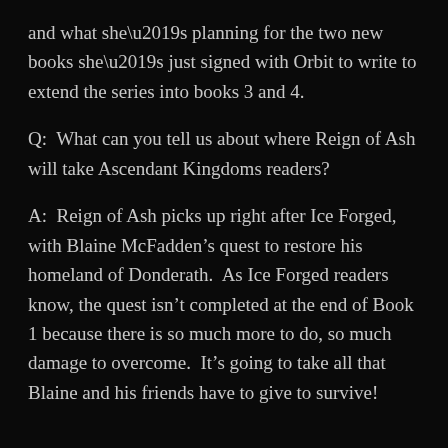and what she’s planning for the two new books she’s just signed with Orbit to write to extend the series into books 3 and 4.
Q:  What can you tell us about where Reign of Ash will take Ascendant Kingdoms readers?
A:  Reign of Ash picks up right after Ice Forged, with Blaine McFadden’s quest to restore his homeland of Donderath.  As Ice Forged readers know, the quest isn’t completed at the end of Book 1 because there is so much more to do, so much damage to overcome.  It’s going to take all that Blaine and his friends have to give to survive!